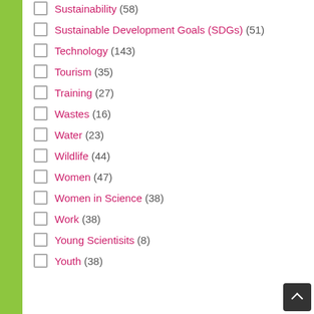Sustainability (58)
Sustainable Development Goals (SDGs) (51)
Technology (143)
Tourism (35)
Training (27)
Wastes (16)
Water (23)
Wildlife (44)
Women (47)
Women in Science (38)
Work (38)
Young Scientisits (8)
Youth (38)